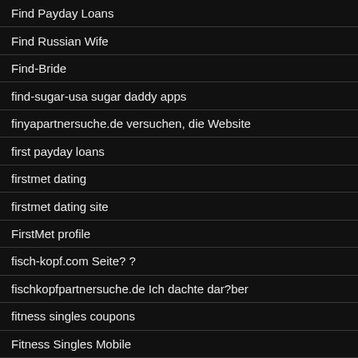Find Payday Loans
Find Russian Wife
Find-Bride
find-sugar-usa sugar daddy apps
finyapartnersuche.de versuchen, die Website
first payday loans
firstmet dating
firstmet dating site
FirstMet profile
fisch-kopf.com Seite? ?
fischkopfpartnersuche.de Ich dachte dar?ber
fitness singles coupons
Fitness Singles Mobile